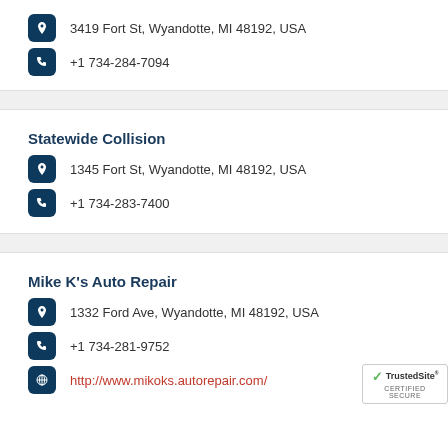3419 Fort St, Wyandotte, MI 48192, USA
+1 734-284-7094
Statewide Collision
1345 Fort St, Wyandotte, MI 48192, USA
+1 734-283-7400
Mike K's Auto Repair
1332 Ford Ave, Wyandotte, MI 48192, USA
+1 734-281-9752
http://www.mikoks.autorepair.com/